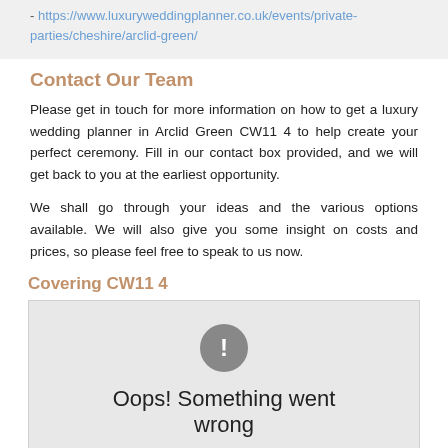- https://www.luxuryweddingplanner.co.uk/events/private-parties/cheshire/arclid-green/
Contact Our Team
Please get in touch for more information on how to get a luxury wedding planner in Arclid Green CW11 4 to help create your perfect ceremony. Fill in our contact box provided, and we will get back to you at the earliest opportunity.
We shall go through your ideas and the various options available. We will also give you some insight on costs and prices, so please feel free to speak to us now.
Covering CW11 4
[Figure (other): Map error placeholder showing a grey circle with exclamation mark and text 'Oops! Something went wrong']